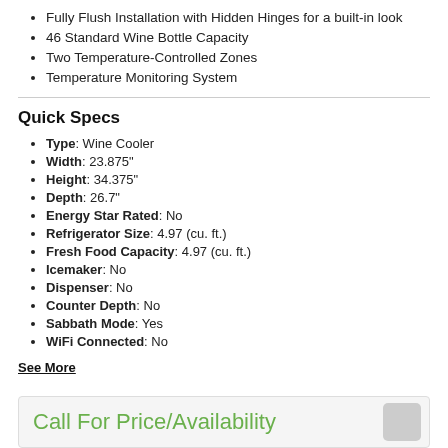Fully Flush Installation with Hidden Hinges for a built-in look
46 Standard Wine Bottle Capacity
Two Temperature-Controlled Zones
Temperature Monitoring System
Quick Specs
Type: Wine Cooler
Width: 23.875"
Height: 34.375"
Depth: 26.7"
Energy Star Rated: No
Refrigerator Size: 4.97 (cu. ft.)
Fresh Food Capacity: 4.97 (cu. ft.)
Icemaker: No
Dispenser: No
Counter Depth: No
Sabbath Mode: Yes
WiFi Connected: No
See More
Call For Price/Availability